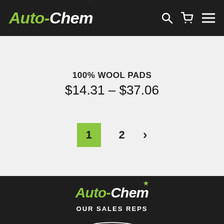[Figure (logo): Auto-Chem logo with maple leaf in dark header, with search, cart, and menu icons]
100% WOOL PADS
$14.31 – $37.06
[Figure (other): Pagination: page 1 (active, green background), page 2, and next arrow]
[Figure (logo): Auto-Chem footer logo with maple leaf]
OUR SALES REPS
[Figure (logo): Caruk & Associates Ltd. logo with car silhouette above]
CARUK AGENCY